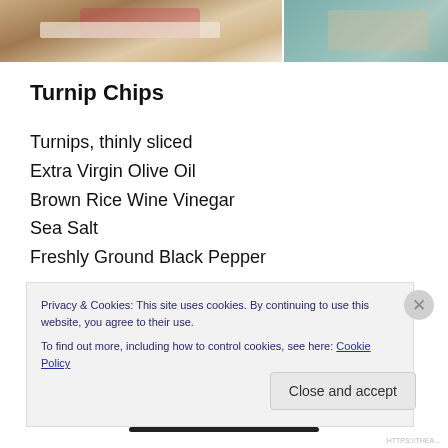[Figure (photo): Two food photos side by side at the top of the page: left photo shows a dish on a wooden surface, right photo shows food on a teal/green plate]
Turnip Chips
Turnips, thinly sliced
Extra Virgin Olive Oil
Brown Rice Wine Vinegar
Sea Salt
Freshly Ground Black Pepper
Preheat oven to 375. Place thinly sliced turnips on a...
Privacy & Cookies: This site uses cookies. By continuing to use this website, you agree to their use.
To find out more, including how to control cookies, see here: Cookie Policy
Close and accept